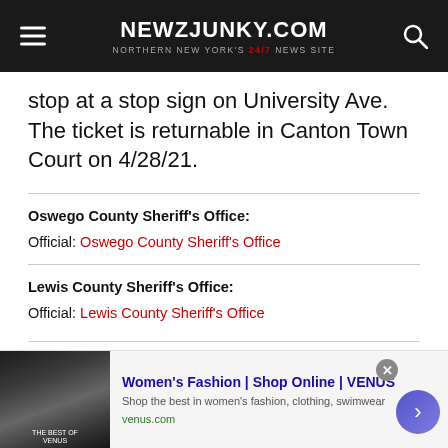NEWZJUNKY.COM — Northern New York's 24/7 News Site
stop at a stop sign on University Ave. The ticket is returnable in Canton Town Court on 4/28/21.
Oswego County Sheriff's Office:
Official: Oswego County Sheriff's Office
Lewis County Sheriff's Office:
Official: Lewis County Sheriff's Office
Jefferson County Sheriff's Office:
Official: Jefferson County Sheriff's Office
[Figure (other): Advertisement banner for Women's Fashion | Shop Online | VENUS from venus.com]